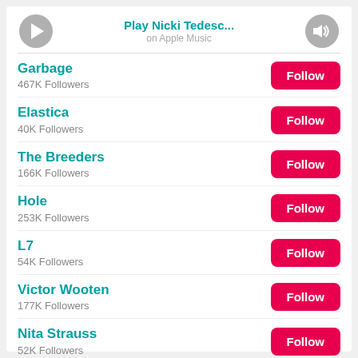[Figure (screenshot): Music player bar with play button, 'Play Nicki Tedesc...' text, 'on Apple Music' subtitle, and volume/speaker button]
Garbage
467K Followers
Elastica
40K Followers
The Breeders
166K Followers
Hole
253K Followers
L7
54K Followers
Victor Wooten
177K Followers
Nita Strauss
52K Followers